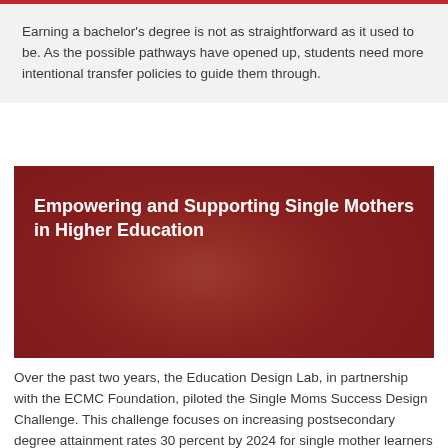Earning a bachelor's degree is not as straightforward as it used to be. As the possible pathways have opened up, students need more intentional transfer policies to guide them through.
[Figure (photo): A red-tinted photo of a mother and child outdoors, used as background for the card titled 'Empowering and Supporting Single Mothers in Higher Education']
Empowering and Supporting Single Mothers in Higher Education
Over the past two years, the Education Design Lab, in partnership with the ECMC Foundation, piloted the Single Moms Success Design Challenge. This challenge focuses on increasing postsecondary degree attainment rates 30 percent by 2024 for single mother learners at four community colleges